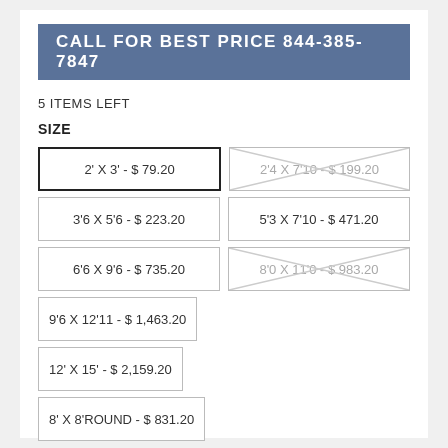CALL FOR BEST PRICE 844-385-7847
5 ITEMS LEFT
SIZE
| Size Option | Price | Available |
| --- | --- | --- |
| 2' X 3' | $79.20 | yes, selected |
| 2'4 X 7'10 | $199.20 | no |
| 3'6 X 5'6 | $223.20 | yes |
| 5'3 X 7'10 | $471.20 | yes |
| 6'6 X 9'6 | $735.20 | yes |
| 8'0 X 11'0 | $983.20 | no |
| 9'6 X 12'11 | $1,463.20 | yes |
| 12' X 15' | $2,159.20 | yes |
| 8' X 8'ROUND | $831.20 | yes |